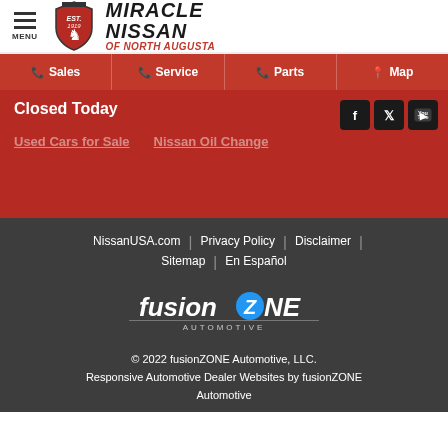[Figure (logo): Miracle Nissan of North Augusta dealer logo with shield emblem and menu icon]
Sales | Service | Parts | Map
Closed Today
Used Cars for Sale   Nissan Oil Change
NissanUSA.com | Privacy Policy | Disclaimer | Sitemap | En Español
[Figure (logo): fusionZONE Automotive logo]
© 2022 fusionZONE Automotive, LLC. Responsive Automotive Dealer Websites by fusionZONE Automotive